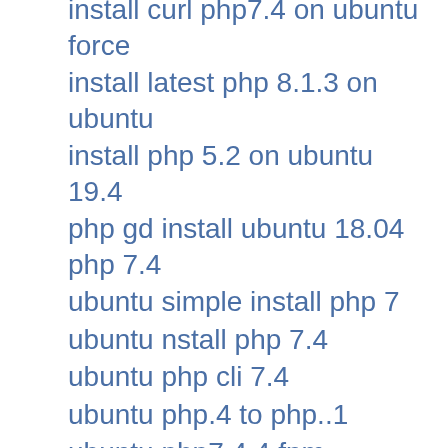install curl php7.4 on ubuntu force
install latest php 8.1.3 on ubuntu
install php 5.2 on ubuntu 19.4
php gd install ubuntu 18.04 php 7.4
ubuntu simple install php 7
ubuntu nstall php 7.4
ubuntu php cli 7.4
ubuntu php.4 to php..1
ubuntu php7.4.4 fpm
ubuntu using php7.2 instead of php7.4
ubuntu20.04 + php7.4 + install
upfrade to php7.4 on Ubuntu 19.04?
upgrade to php 7.4 linux
ubuntu not installed php to 7.4